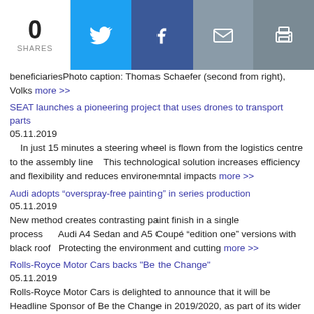0 SHARES
beneficiariesPhoto caption: Thomas Schaefer (second from right), Volks more >>
SEAT launches a pioneering project that uses drones to transport parts
05.11.2019
In just 15 minutes a steering wheel is flown from the logistics centre to the assembly line    This technological solution increases efficiency and flexibility and reduces environemntal impacts more >>
Audi adopts “overspray-free painting” in series production
05.11.2019
New method creates contrasting paint finish in a single process    Audi A4 Sedan and A5 Coupé “edition one” versions with black roof   Protecting the environment and cutting more >>
Rolls-Royce Motor Cars backs "Be the Change"
05.11.2019
Rolls-Royce Motor Cars is delighted to announce that it will be Headline Sponsor of Be the Change in 2019/2020, as part of its wider community outreach and philanthropic activities.    Rolls-Royce Motor Cars is Headline Sponsor of Be the Ch more >>
Acura Pushes Android Auto Integration Update Over-the-Air to Third Generation RDX
04.11.2019